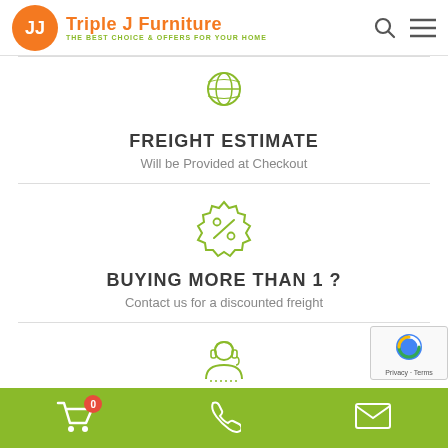Triple J Furniture — THE BEST CHOICE & OFFERS FOR YOUR HOME
[Figure (illustration): Globe icon in olive/green outline style]
FREIGHT ESTIMATE
Will be Provided at Checkout
[Figure (illustration): Discount badge/seal icon with percent sign in olive/green outline style]
BUYING MORE THAN 1 ?
Contact us for a discounted freight
[Figure (illustration): Customer support agent headset icon in olive/green outline style]
24H SUPPORT
Services support fast 24/7
Cart (0) | Phone | Email